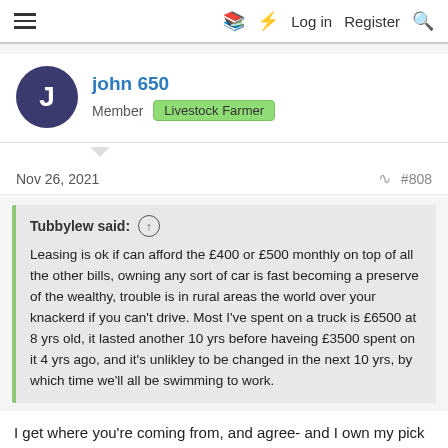≡   □  ⚡  Log in  Register  🔍
john 650
Member  Livestock Farmer
Nov 26, 2021   #808
Tubbylew said: ↑
Leasing is ok if can afford the £400 or £500 monthly on top of all the other bills, owning any sort of car is fast becoming a preserve of the wealthy, trouble is in rural areas the world over your knackerd if you can't drive. Most I've spent on a truck is £6500 at 8 yrs old, it lasted another 10 yrs before haveing £3500 spent on it 4 yrs ago, and it's unlikley to be changed in the next 10 yrs, by which time we'll all be swimming to work.
I get where you're coming from, and agree- and I own my pick up, which does 5-10K miles a year. The lease car with me is doing 40K+ miles a year- not many cars would last the 10 years your pick up has, or the 6 years my LR has for that matter.